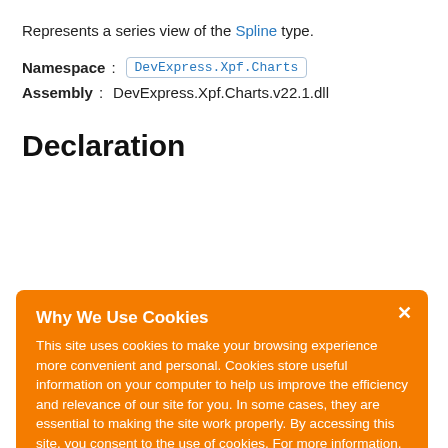Represents a series view of the Spline type.
Namespace: DevExpress.Xpf.Charts
Assembly: DevExpress.Xpf.Charts.v22.1.dll
Declaration
Why We Use Cookies
This site uses cookies to make your browsing experience more convenient and personal. Cookies store useful information on your computer to help us improve the efficiency and relevance of our site for you. In some cases, they are essential to making the site work properly. By accessing this site, you consent to the use of cookies. For more information, refer to DevExpress' privacy policy and cookie policy.
I UNDERSTAND
Remarks